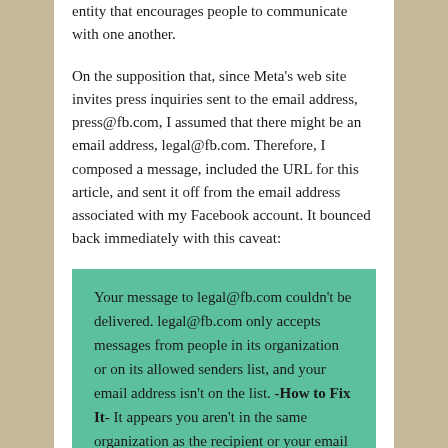entity that encourages people to communicate with one another.
On the supposition that, since Meta's web site invites press inquiries sent to the email address, press@fb.com, I assumed that there might be an email address, legal@fb.com. Therefore, I composed a message, included the URL for this article, and sent it off from the email address associated with my Facebook account. It bounced back immediately with this caveat:
Your message to legal@fb.com couldn't be delivered. legal@fb.com only accepts messages from people in its organization or on its allowed senders list, and your email address isn't on the list. -How to Fix It- It appears you aren't in the same organization as the recipient or your email address isn't on their allowed senders list. Contact the person you're